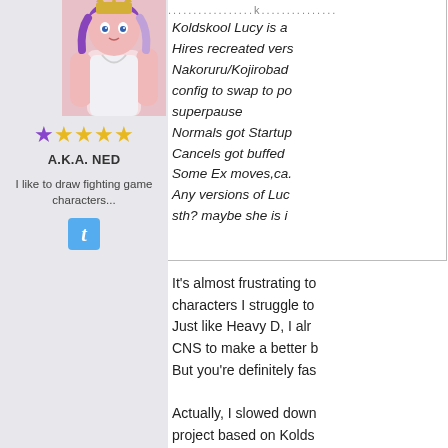[Figure (illustration): Anime/manga style female character with purple crown and white outfit]
★ ★★★★
A.K.A. NED
I like to draw fighting game characters...
[Figure (logo): Twitter bird icon badge]
.................k...............
Koldskool Lucy is a
Hires recreated vers
Nakoruru/Kojirobad
config to swap to po
superpause
Normals got Startup
Cancels got buffed
Some Ex moves,ca.
Any versions of Luc
sth? maybe she is i
It's almost frustrating to
characters I struggle to
Just like Heavy D, I alr
CNS to make a better b
But you're definitely fas
Actually, I slowed down
project based on Kolds
So, is it a pots charact
what style it is.